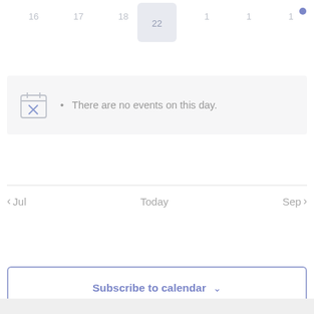[Figure (screenshot): Calendar week row showing day numbers, with one day highlighted/selected in a blue-grey box]
There are no events on this day.
< Jul    Today    Sep >
[Figure (other): Subscribe to calendar button with dropdown arrow]